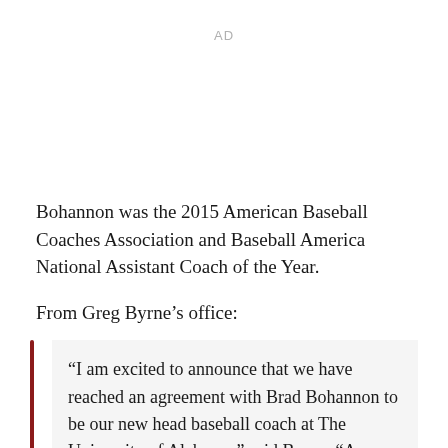AD
Bohannon was the 2015 American Baseball Coaches Association and Baseball America National Assistant Coach of the Year.
From Greg Byrne’s office:
"I am excited to announce that we have reached an agreement with Brad Bohannon to be our new head baseball coach at The University of Alabama," said Byrne. "As we began the search and studied our successful rosters from the past regional and